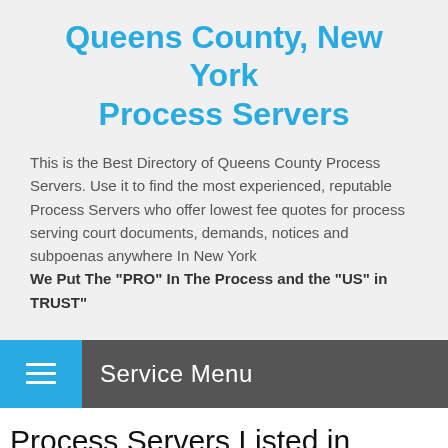Queens County, New York Process Servers
This is the Best Directory of Queens County Process Servers. Use it to find the most experienced, reputable Process Servers who offer lowest fee quotes for process serving court documents, demands, notices and subpoenas anywhere In New York
We Put The "PRO" In The Process and the "US" in TRUST"
Service Menu
Process Servers Listed in Rockaway Park, NY